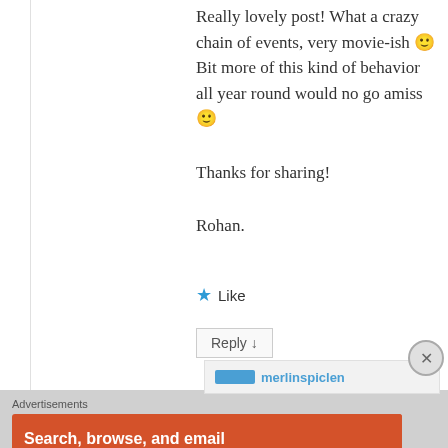Really lovely post! What a crazy chain of events, very movie-ish 🙂 Bit more of this kind of behavior all year round would no go amiss 🙂

Thanks for sharing!

Rohan.
★ Like
Reply ↓
merlinspiclen
Advertisements
[Figure (infographic): DuckDuckGo advertisement banner with orange background. Left side has text 'Search, browse, and email with more privacy.' with a white pill button 'All in One Free App'. Right side shows a dark smartphone with DuckDuckGo logo and text 'DuckDuckGo.' below it.]